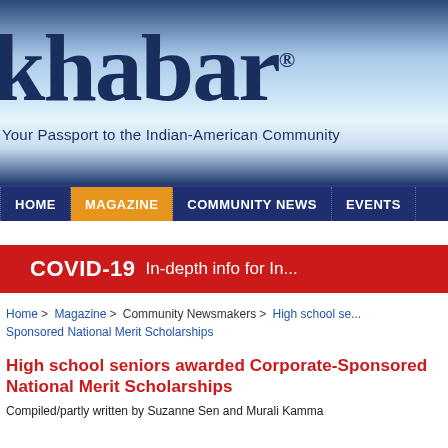[Figure (logo): Khabar magazine logo banner with light blue gradient background, large dark navy 'khabar' text with registered trademark symbol, and tagline 'Your Passport to the Indian-American Community']
HOME | MAGAZINE | COMMUNITY NEWS | EVENTS
[Figure (infographic): Red COVID-19 banner with white bold text 'COVID-19' and subtitle 'In-depth info for In...']
Home > Magazine > Community Newsmakers > High school se... Sponsored National Merit Scholarships
High school seniors awarded Corporate-Sponsored National Merit Scholarships
Compiled/partly written by Suzanne Sen and Murali Kamma